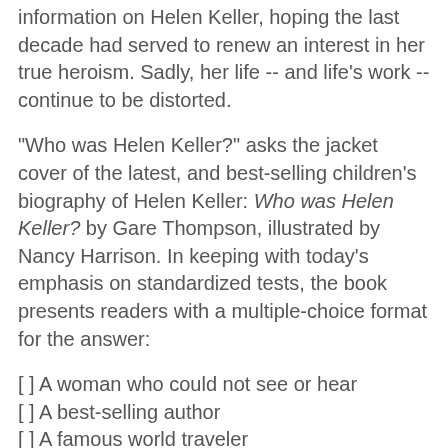information on Helen Keller, hoping the last decade had served to renew an interest in her true heroism. Sadly, her life -- and life's work -- continue to be distorted.
"Who was Helen Keller?" asks the jacket cover of the latest, and best-selling children's biography of Helen Keller: Who was Helen Keller? by Gare Thompson, illustrated by Nancy Harrison. In keeping with today's emphasis on standardized tests, the book presents readers with a multiple-choice format for the answer:
[ ] A woman who could not see or hear
[ ] A best-selling author
[ ] A famous world traveler
[√] All of the above!
"Find out more about the real Helen Keller in this fun and exciting illustrated biography!"
This "teaser" for the biography is an example of what historian James Loewen calls "lying by omission." Within the text itself, the distortions of